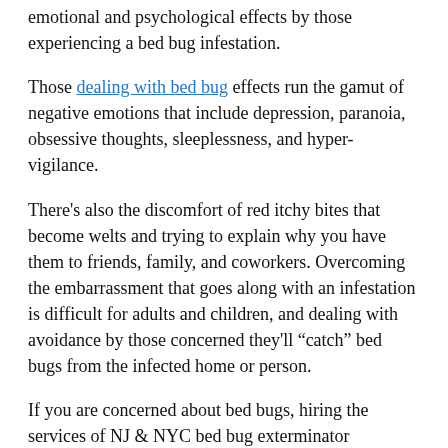emotional and psychological effects by those experiencing a bed bug infestation.
Those dealing with bed bug effects run the gamut of negative emotions that include depression, paranoia, obsessive thoughts, sleeplessness, and hyper-vigilance.
There’s also the discomfort of red itchy bites that become welts and trying to explain why you have them to friends, family, and coworkers. Overcoming the embarrassment that goes along with an infestation is difficult for adults and children, and dealing with avoidance by those concerned they’ll “catch” bed bugs from the infected home or person.
If you are concerned about bed bugs, hiring the services of NJ & NYC bed bug exterminator professionals can put your mind at ease. With NJ & NYC bed bug exterminator technicians addressing bed bug problems, a treatment plan can be put into action to rid your home of these pests.